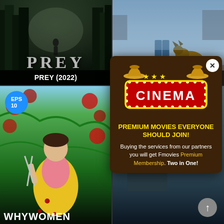[Figure (screenshot): Prey (2022) movie poster thumbnail — dark forest with figure, stylized PREY title text]
PREY (2022)
[Figure (screenshot): Hudson and Rex - Season 1 thumbnail — man and German Shepherd dog in parking lot]
Hudson and Rex - Season 1
[Figure (screenshot): Why Women Kill series thumbnail — woman with scissors among roses, EPS 10 badge]
[Figure (screenshot): Unknown series thumbnail — EPS 16 badge, partial view]
[Figure (screenshot): Popup advertisement overlay with Cinema sign and premium membership offer]
PREMIUM MOVIES EVERYONE SHOULD JOIN!
Buying the services from our partners you will get Fmovies Premium Membership. Two in One!